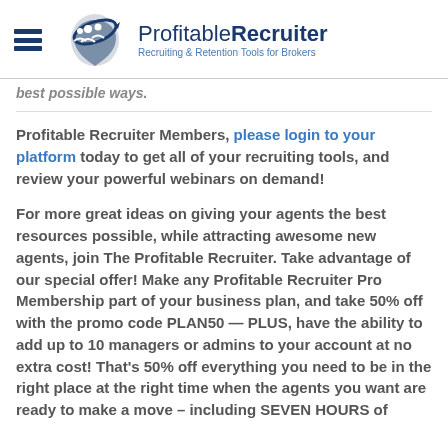ProfitableRecruiter – Recruiting & Retention Tools for Brokers
best possible ways.
Profitable Recruiter Members, please login to your platform today to get all of your recruiting tools, and review your powerful webinars on demand!
For more great ideas on giving your agents the best resources possible, while attracting awesome new agents, join The Profitable Recruiter. Take advantage of our special offer! Make any Profitable Recruiter Pro Membership part of your business plan, and take 50% off with the promo code PLAN50 — PLUS, have the ability to add up to 10 managers or admins to your account at no extra cost! That's 50% off everything you need to be in the right place at the right time when the agents you want are ready to make a move – including SEVEN HOURS of